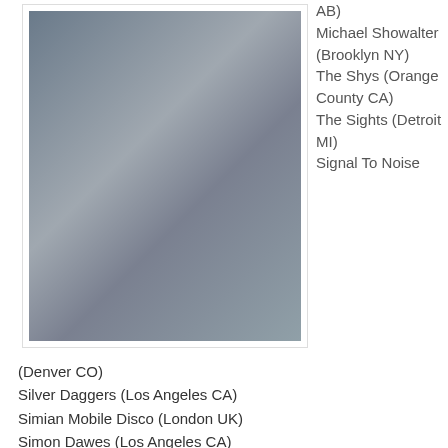[Figure (photo): Group photo of six young men standing together outdoors on a street, wearing casual t-shirts and jeans.]
(Denver CO)
Silver Daggers (Los Angeles CA)
Simian Mobile Disco (London UK)
Simon Dawes (Los Angeles CA)
Alina Simone (Carrboro NC)
Simple Kid (London UK)
Single Frame (Austin TX)
The Sippy Cups (San Francisco CA)
Sissy Wish (Bergen NORWAY)
Sister Flo (Riihimaki FINLAND)
Six Nation State (Bromley UK)
AB)
Michael Showalter (Brooklyn NY)
The Shys (Orange County CA)
The Sights (Detroit MI)
Signal To Noise